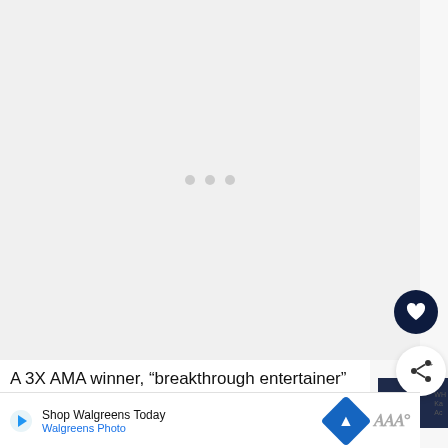[Figure (screenshot): Loading placeholder area with three gray dots centered, representing an image or video loading state]
[Figure (screenshot): Dark navy circular heart/favorite button icon]
[Figure (screenshot): White circular share button with share icon]
[Figure (screenshot): Dark navy sidebar thumbnail image]
WH Ka Ac
A 3X AMA winner, “breakthrough entertainer” (Associated Press) Kane Brown continues to “defy-
ge in co
[Figure (screenshot): Advertisement bar: Shop Walgreens Today / Walgreens Photo with play button, navigation diamond icon, and logo]